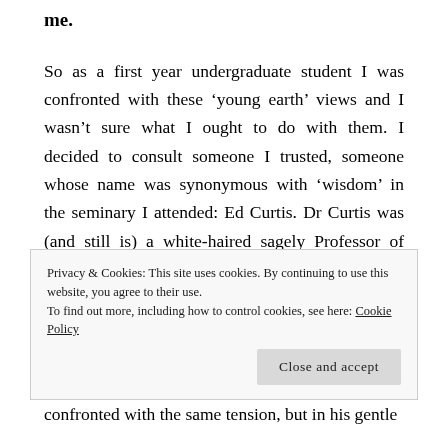me.
So as a first year undergraduate student I was confronted with these ‘young earth’ views and I wasn’t sure what I ought to do with them. I decided to consult someone I trusted, someone whose name was synonymous with ‘wisdom’ in the seminary I attended: Ed Curtis. Dr Curtis was (and still is) a white-haired sagely Professor of Biblical and Theological Studies who specialised in the Hebrew language and Wisdom Literature. On top of this, prior to pursuing theology he studied physical science and worked as an engineer
Privacy & Cookies: This site uses cookies. By continuing to use this website, you agree to their use.
To find out more, including how to control cookies, see here: Cookie Policy
Close and accept
confronted with the same tension, but in his gentle